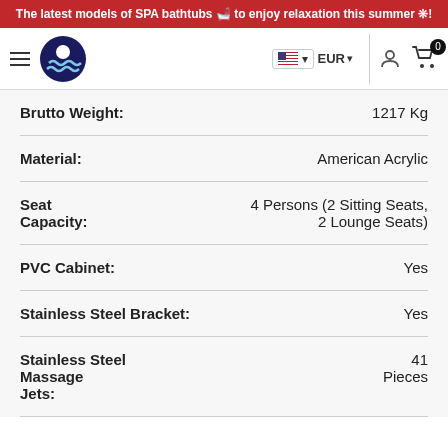The latest models of SPA bathtubs 🛁 to enjoy relaxation this summer ❊!
[Figure (logo): Website navigation bar with hamburger menu, circular logo (dark blue with wave design), flag/currency selector showing US flag and EUR, user icon, and shopping cart icon with 0 badge]
| Specification | Value |
| --- | --- |
| Brutto Weight: | 1217 Kg |
| Material: | American Acrylic |
| Seat Capacity: | 4 Persons (2 Sitting Seats, 2 Lounge Seats) |
| PVC Cabinet: | Yes |
| Stainless Steel Bracket: | Yes |
| Stainless Steel Massage Jets: | 41 Pieces |